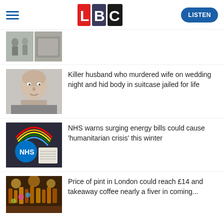LBC — LISTEN
[Figure (photo): Partial news thumbnail — two overlapping crime scene or outdoor photos]
[Figure (photo): Mugshot of a bald middle-aged man]
Killer husband who murdered wife on wedding night and hid body in suitcase jailed for life
[Figure (photo): NHS logo badge held up with a rainbow in the background and paperwork visible]
NHS warns surging energy bills could cause 'humanitarian crisis' this winter
[Figure (photo): Colourful bar scene or pub interior]
Price of pint in London could reach £14 and takeaway coffee nearly a fiver in coming...